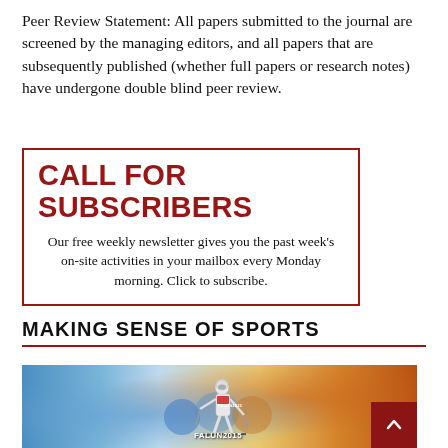Peer Review Statement: All papers submitted to the journal are screened by the managing editors, and all papers that are subsequently published (whether full papers or research notes) have undergone double blind peer review.
CALL FOR SUBSCRIBERS
Our free weekly newsletter gives you the past week's on-site activities in your mailbox every Monday morning. Click to subscribe.
MAKING SENSE OF SPORTS
[Figure (photo): Action photo of a cross-country skier wearing a white uniform with 'FALUN2015' text, racing with poles, with a colorful crowd in the background showing blue and orange tones.]